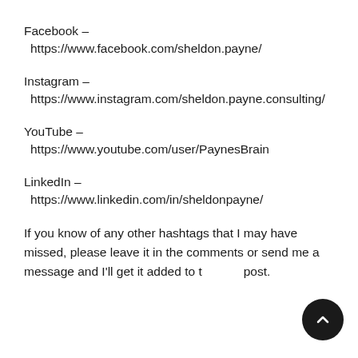Facebook – https://www.facebook.com/sheldon.payne/
Instagram – https://www.instagram.com/sheldon.payne.consulting/
YouTube – https://www.youtube.com/user/PaynesBrain
LinkedIn – https://www.linkedin.com/in/sheldonpayne/
If you know of any other hashtags that I may have missed, please leave it in the comments or send me a message and I'll get it added to the post.